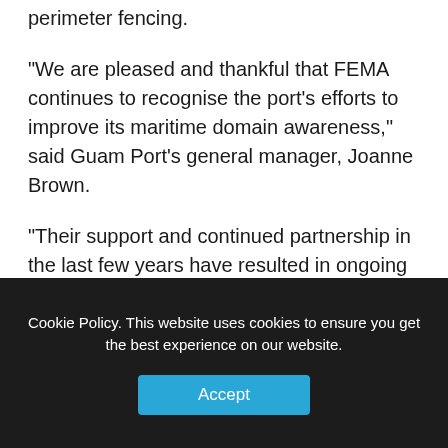perimeter fencing.
“We are pleased and thankful that FEMA continues to recognise the port’s efforts to improve its maritime domain awareness,” said Guam Port’s general manager, Joanne Brown.
“Their support and continued partnership in the last few years have resulted in ongoing projects that once completed will greatly enhance the security of our employees, tenants, and stakeholders.”
“Enhanced security measures are a critical part of our modernisation program, and this project falls in line with the necessary upgrades crucial to our facility.”
Cookie Policy. This website uses cookies to ensure you get the best experience on our website.